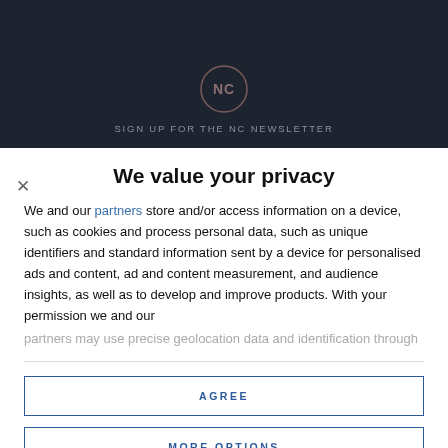[Figure (logo): NC circular logo with letters NC inside a circle, dark background]
SIGN UP FOR THE NC NEWSLETTER
We value your privacy
We and our partners store and/or access information on a device, such as cookies and process personal data, such as unique identifiers and standard information sent by a device for personalised ads and content, ad and content measurement, and audience insights, as well as to develop and improve products. With your permission we and our partners may use precise geolocation data and identification through
AGREE
MORE OPTIONS